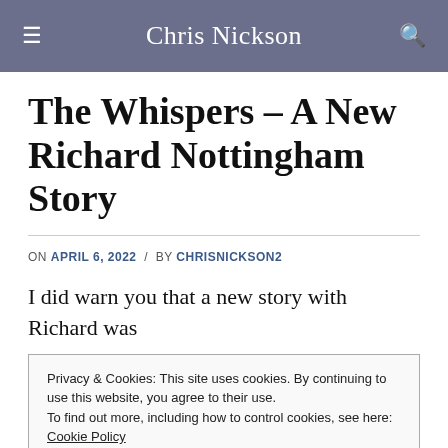Chris Nickson
The Whispers – A New Richard Nottingham Story
ON APRIL 6, 2022 / BY CHRISNICKSON2
I did warn you that a new story with Richard was
Privacy & Cookies: This site uses cookies. By continuing to use this website, you agree to their use.
To find out more, including how to control cookies, see here: Cookie Policy
Close and accept